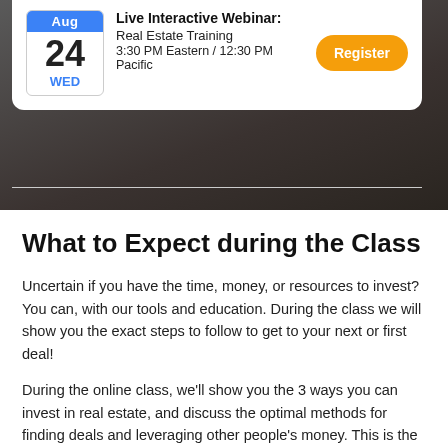[Figure (screenshot): Webinar registration card showing calendar date Aug 24 WED, Live Interactive Webinar: Real Estate Training, 3:30 PM Eastern / 12:30 PM Pacific, and an orange Register button]
What to Expect during the Class
Uncertain if you have the time, money, or resources to invest? You can, with our tools and education. During the class we will show you the exact steps to follow to get to your next or first deal!
During the online class, we'll show you the 3 ways you can invest in real estate, and discuss the optimal methods for finding deals and leveraging other people's money. This is the class thousands of our students have attended to learn about: